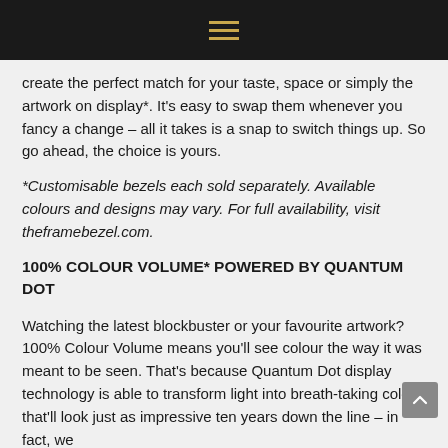☰
create the perfect match for your taste, space or simply the artwork on display*. It's easy to swap them whenever you fancy a change – all it takes is a snap to switch things up. So go ahead, the choice is yours.
*Customisable bezels each sold separately. Available colours and designs may vary. For full availability, visit theframebezel.com.
100% COLOUR VOLUME* POWERED BY QUANTUM DOT
Watching the latest blockbuster or your favourite artwork? 100% Colour Volume means you'll see colour the way it was meant to be seen. That's because Quantum Dot display technology is able to transform light into breath-taking colour that'll look just as impressive ten years down the line – in fact, we